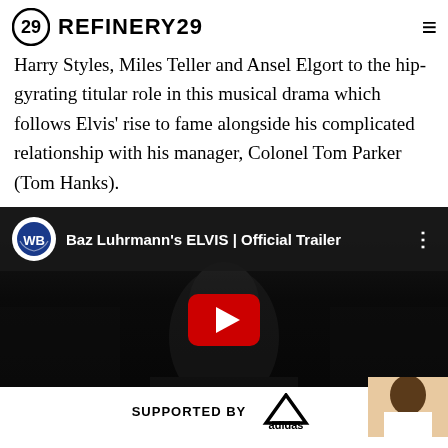REFINERY29
Harry Styles, Miles Teller and Ansel Elgort to the hip-gyrating titular role in this musical drama which follows Elvis' rise to fame alongside his complicated relationship with his manager, Colonel Tom Parker (Tom Hanks).
[Figure (screenshot): YouTube video embed showing 'Baz Luhrmann's ELVIS | Official Trailer' with WB logo, dark background showing a person's face, red YouTube play button, and an Adidas ad banner at the bottom.]